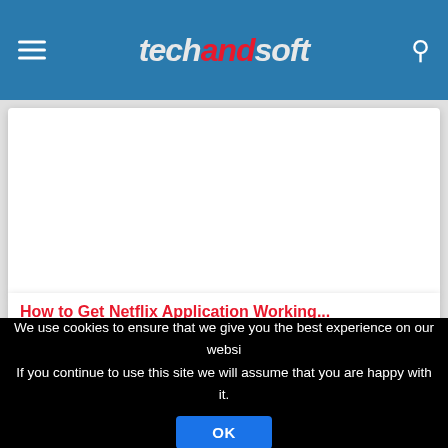techandsoft
[Figure (other): Blank white card image area for a Netflix article]
How to Get Netflix Application Working...
[Figure (other): Blank white card image area for a second article]
We use cookies to ensure that we give you the best experience on our website. If you continue to use this site we will assume that you are happy with it.